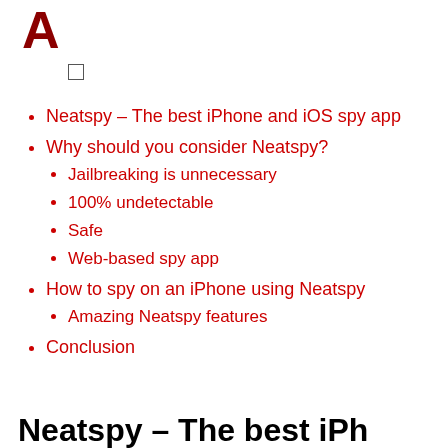A
[Figure (other): Checkbox (unchecked)]
Neatspy – The best iPhone and iOS spy app
Why should you consider Neatspy?
Jailbreaking is unnecessary
100% undetectable
Safe
Web-based spy app
How to spy on an iPhone using Neatspy
Amazing Neatspy features
Conclusion
Neatspy – The best iPh